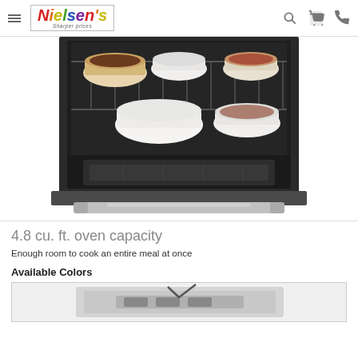Nielsen's Sharper prices
[Figure (photo): Open oven interior with wire racks holding white ceramic baking dishes and a dish with food; oven door handle visible at bottom; stainless steel exterior]
4.8 cu. ft. oven capacity
Enough room to cook an entire meal at once
Available Colors
[Figure (photo): Thumbnail image of oven color option, partially visible at bottom of page]